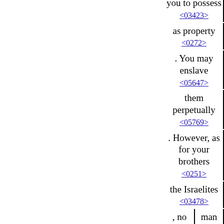you to possess <03423>
as property <0272>
. You may enslave <05647>
them perpetually <05769>
. However, as for your brothers <0251>
the Israelites <03478>
, no <03808> | man <0376>
may rule <07287>
over his brother <0251>